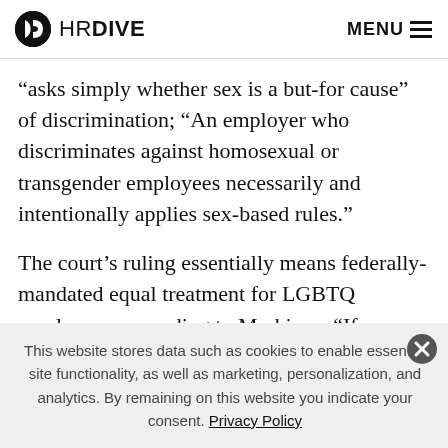HR DIVE  MENU
“asks simply whether sex is a but-for cause” of discrimination; “An employer who discriminates against homosexual or transgender employees necessarily and intentionally applies sex-based rules.”
The court’s ruling essentially means federally-mandated equal treatment for LGBTQ employees, according to Markison. “If your employment policies do not currently provide for nondiscrimination based on sexual orientation
This website stores data such as cookies to enable essential site functionality, as well as marketing, personalization, and analytics. By remaining on this website you indicate your consent. Privacy Policy